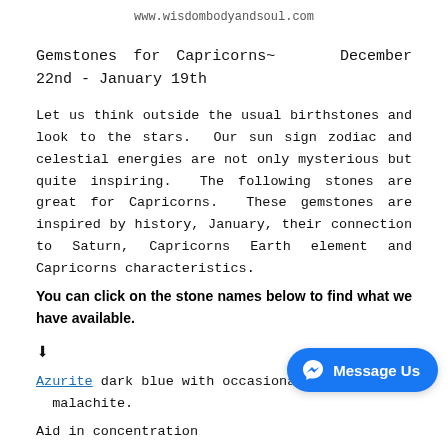www.wisdombodyandsoul.com
Gemstones for Capricorns~   December 22nd - January 19th
Let us think outside the usual birthstones and look to the stars.  Our sun sign zodiac and celestial energies are not only mysterious but quite inspiring.  The following stones are great for Capricorns.  These gemstones are inspired by history, January, their connection to Saturn, Capricorns Earth element and Capricorns characteristics.
You can click on the stone names below to find what we have available.
↓
Azurite dark blue with occasional sp… malachite.
Aid in concentration